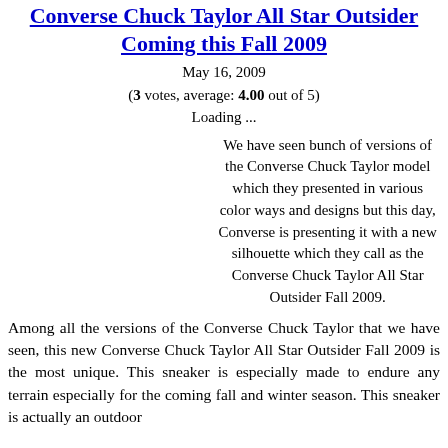Converse Chuck Taylor All Star Outsider Coming this Fall 2009
May 16, 2009
(3 votes, average: 4.00 out of 5)
Loading ...
We have seen bunch of versions of the Converse Chuck Taylor model which they presented in various color ways and designs but this day, Converse is presenting it with a new silhouette which they call as the Converse Chuck Taylor All Star Outsider Fall 2009.
Among all the versions of the Converse Chuck Taylor that we have seen, this new Converse Chuck Taylor All Star Outsider Fall 2009 is the most unique. This sneaker is especially made to endure any terrain especially for the coming fall and winter season. This sneaker is actually an outdoor